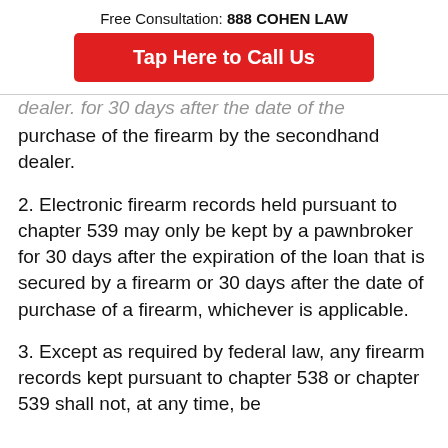Free Consultation: 888 COHEN LAW
Tap Here to Call Us
dealer. for 30 days after the date of the purchase of the firearm by the secondhand dealer.
2.  Electronic firearm records held pursuant to chapter 539 may only be kept by a pawnbroker for 30 days after the expiration of the loan that is secured by a firearm or 30 days after the date of purchase of a firearm, whichever is applicable.
3.  Except as required by federal law, any firearm records kept pursuant to chapter 538 or chapter 539 shall not, at any time, be